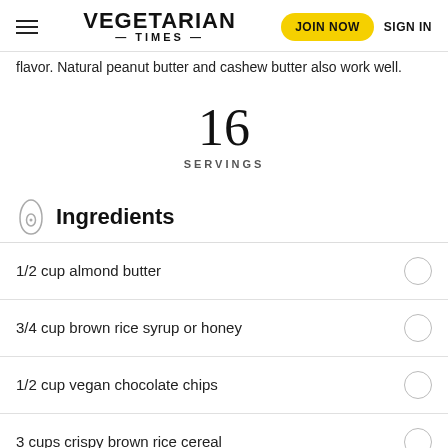VEGETARIAN TIMES | JOIN NOW | SIGN IN
flavor. Natural peanut butter and cashew butter also work well.
16
SERVINGS
Ingredients
1/2 cup almond butter
3/4 cup brown rice syrup or honey
1/2 cup vegan chocolate chips
3 cups crispy brown rice cereal